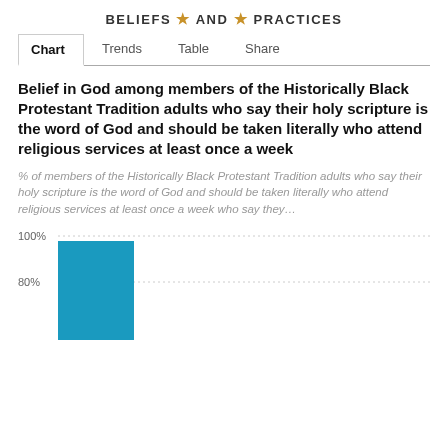BELIEFS ★ AND ★ PRACTICES
Chart  Trends  Table  Share
Belief in God among members of the Historically Black Protestant Tradition adults who say their holy scripture is the word of God and should be taken literally who attend religious services at least once a week
% of members of the Historically Black Protestant Tradition adults who say their holy scripture is the word of God and should be taken literally who attend religious services at least once a week who say they…
[Figure (bar-chart): Belief in God]